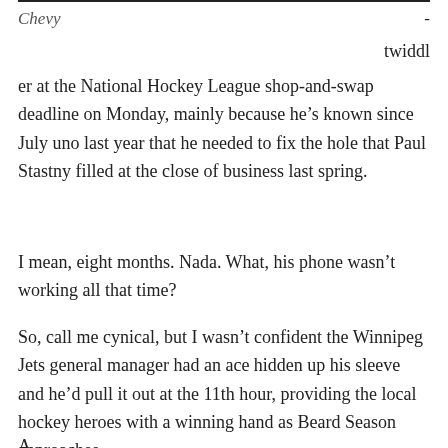Chevy                                          -
twiddler at the National Hockey League shop-and-swap deadline on Monday, mainly because he’s known since July uno last year that he needed to fix the hole that Paul Stastny filled at the close of business last spring.
I mean, eight months. Nada. What, his phone wasn’t working all that time?
So, call me cynical, but I wasn’t confident the Winnipeg Jets general manager had an ace hidden up his sleeve and he’d pull it out at the 11th hour, providing the local hockey heroes with a winning hand as Beard Season approaches.
A